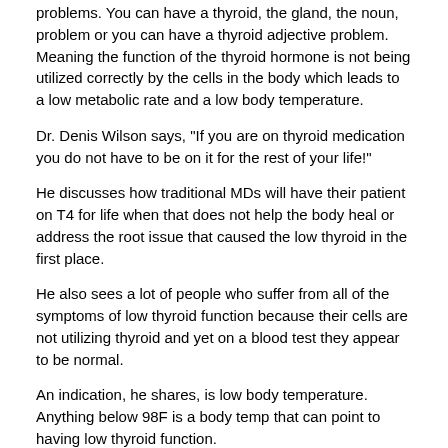problems. You can have a thyroid, the gland, the noun, problem or you can have a thyroid adjective problem. Meaning the function of the thyroid hormone is not being utilized correctly by the cells in the body which leads to a low metabolic rate and a low body temperature.
Dr. Denis Wilson says, "If you are on thyroid medication you do not have to be on it for the rest of your life!"
He discusses how traditional MDs will have their patient on T4 for life when that does not help the body heal or address the root issue that caused the low thyroid in the first place.
He also sees a lot of people who suffer from all of the symptoms of low thyroid function because their cells are not utilizing thyroid and yet on a blood test they appear to be normal.
An indication, he shares, is low body temperature. Anything below 98F is a body temp that can point to having low thyroid function.
In our interview, Dr. Wilson gives an action plan for healing your thyroid. If you have hypothyroid, meaning low thyroid function, Dr. Denis Wilson recommends that you do the following:
1. Avoid stress
2. Declutter and simplify your life
3. Create a regular active relaxation routine